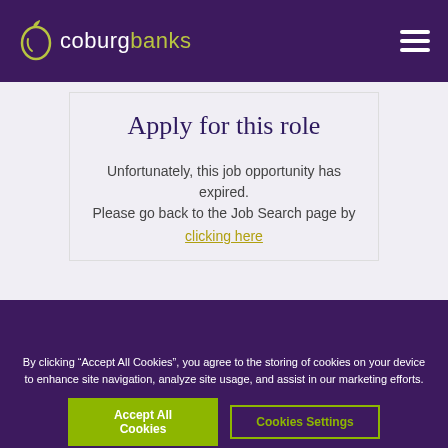coburg banks
Apply for this role
Unfortunately, this job opportunity has expired.
Please go back to the Job Search page by
clicking here
By clicking “Accept All Cookies”, you agree to the storing of cookies on your device to enhance site navigation, analyze site usage, and assist in our marketing efforts.
Accept All Cookies
Cookies Settings